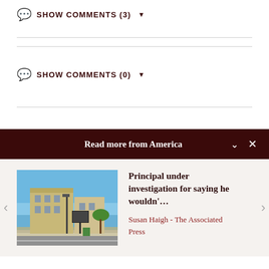💬 SHOW COMMENTS (3) ▼
💬 SHOW COMMENTS (0) ▼
Read more from America
[Figure (photo): Street scene photo showing a town center with a multi-story brick building, street lamps, and storefronts under a blue sky]
Principal under investigation for saying he wouldn'…
Susan Haigh - The Associated Press